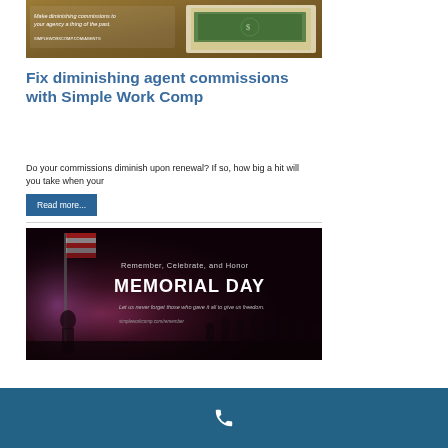[Figure (photo): Advertisement banner showing money/cash on wooden background with text 'Make diminishing commissions to your agency a thing of the past.' and URL simpleworkcomp.com/agents]
Fix diminishing agent commissions with Simple Work Comp
Do your commissions diminish upon renewal? If so, how big a hit will you take when your
Read more...
[Figure (photo): Memorial Day promotional image with dark background, American flag silhouette, text 'Remember, Celebrate, and Honor MEMORIAL DAY Let us never forget those who gave it all to give us freedom. simpleworkcomp.com/remember']
Phone icon